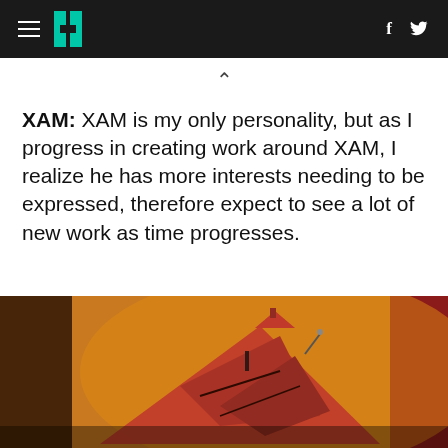HuffPost navigation with hamburger menu, logo, Facebook and Twitter icons
XAM: XAM is my only personality, but as I progress in creating work around XAM, I realize he has more interests needing to be expressed, therefore expect to see a lot of new work as time progresses.
[Figure (photo): Photo of a sculptural red geometric figure shaped like a robot or character made of angular metallic panels, lit with warm orange/yellow lighting against a blurred background with red curtain on the right.]